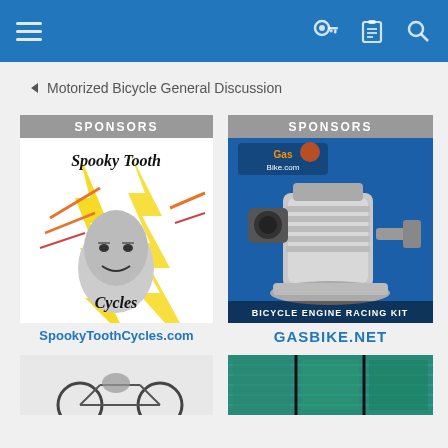Navigation bar with hamburger menu, key, clipboard, and search icons
< Motorized Bicycle General Discussion
SPONSORS
[Figure (illustration): Spooky Tooth Cycles logo — illustrated figure with text 'Spooky Tooth Cycles']
SpookyToothCycles.com
[Figure (illustration): Partial image of a motorized bicycle at the bottom of the left column]
SPONSORS
[Figure (photo): GasBike.net advertisement showing a bicycle engine racing kit on a blue background with GasBike.com logo]
GASBIKE.NET
[Figure (illustration): Partial image with teal/green metallic texture at the bottom of the right column]